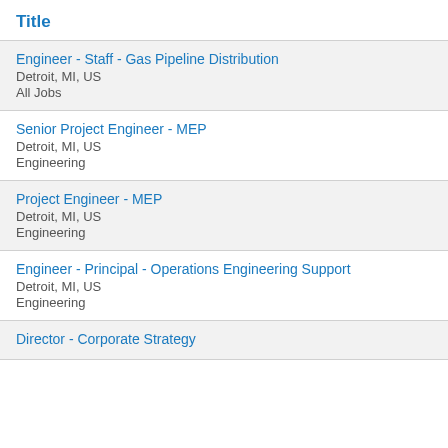Title
Engineer - Staff - Gas Pipeline Distribution
Detroit, MI, US
All Jobs
Senior Project Engineer - MEP
Detroit, MI, US
Engineering
Project Engineer - MEP
Detroit, MI, US
Engineering
Engineer - Principal - Operations Engineering Support
Detroit, MI, US
Engineering
Director - Corporate Strategy